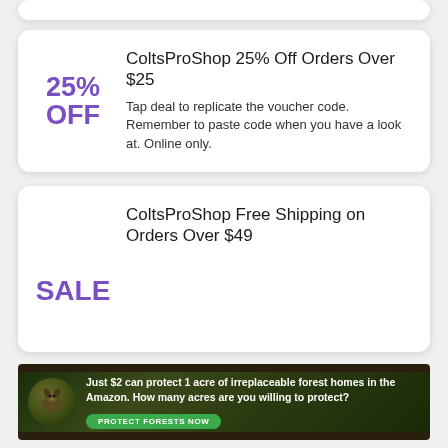ColtsProShop 25% Off Orders Over $25
25% OFF
Tap deal to replicate the voucher code. Remember to paste code when you have a look at. Online only.
ColtsProShop Free Shipping on Orders Over $49
SALE
[Figure (infographic): Advertisement banner: forest conservation ad reading 'Just $2 can protect 1 acre of irreplaceable forest homes in the Amazon. How many acres are you willing to protect?' with a green PROTECT FORESTS NOW button.]